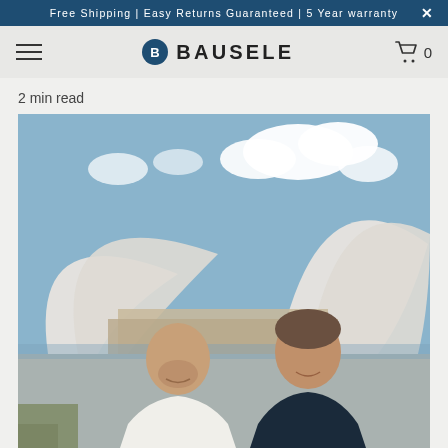Free Shipping | Easy Returns Guaranteed | 5 Year warranty ×
[Figure (logo): Bausele watch brand logo with hamburger menu on left and shopping cart icon showing 0 on right]
2 min read
[Figure (photo): Two men smiling and posing in front of the Sydney Opera House on a sunny day. The man on the left wears a white shirt, the man on the right wears a dark navy shirt. Blue sky with clouds in background.]